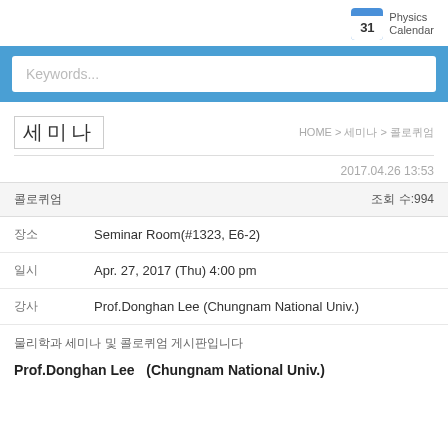Physics Calendar
Keywords...
세미나
HOME > 세미나 > 콜로퀴엄
2017.04.26 13:53
콜로퀴엄  조회 수:994
| 구분 | 내용 |
| --- | --- |
| 장소 | Seminar Room(#1323, E6-2) |
| 일시 | Apr. 27, 2017 (Thu) 4:00 pm |
| 강사 | Prof.Donghan Lee (Chungnam National Univ.) |
물리학과 세미나 및 콜로퀴엄 게시판입니다
Prof.Donghan Lee   (Chungnam National Univ.)